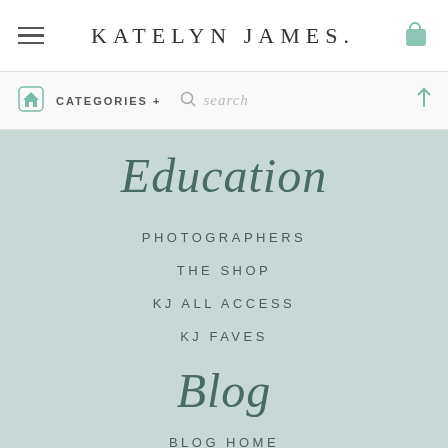KATELYN JAMES.
CATEGORIES + search
Education
PHOTOGRAPHERS
THE SHOP
KJ ALL ACCESS
KJ FAVES
Blog
BLOG HOME